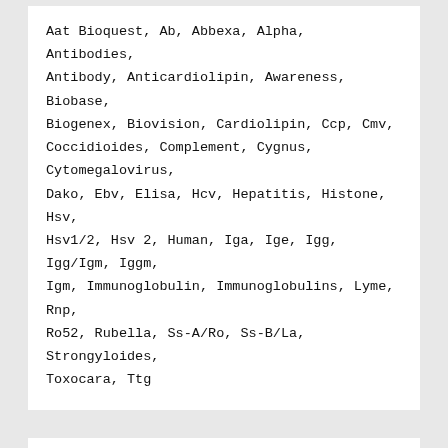Aat Bioquest, Ab, Abbexa, Alpha, Antibodies, Antibody, Anticardiolipin, Awareness, Biobase, Biogenex, Biovision, Cardiolipin, Ccp, Cmv, Coccidioides, Complement, Cygnus, Cytomegalovirus, Dako, Ebv, Elisa, Hcv, Hepatitis, Histone, Hsv, Hsv1/2, Hsv 2, Human, Iga, Ige, Igg, Igg/Igm, Iggm, Igm, Immunoglobulin, Immunoglobulins, Lyme, Rnp, Ro52, Rubella, Ss-A/Ro, Ss-B/La, Strongyloides, Toxocara, Ttg
PAGINA'S
Contact Us
Distributors
Fetal bovine serum-derived exosomes regulate the adipogenic differentiation of human bone marrow mesenchymal stromal cells in a cross-species manner